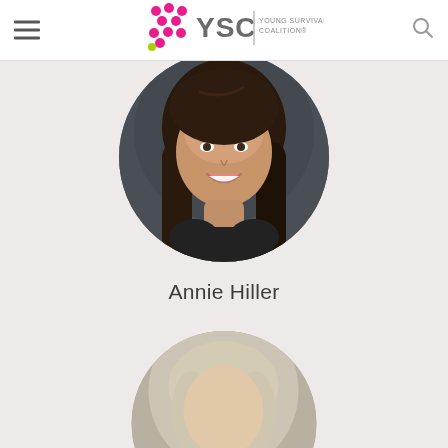[Figure (logo): Young Survival Coalition (YSC) logo with pink ribbon and dots graphic, gray YSC text, and tagline YOUNG SURVIVAL COALITION]
[Figure (photo): Circular portrait photo of Annie Hiller, a woman with long brown hair, smiling, on a dark background]
Annie Hiller
[Figure (photo): Circular portrait photo partially visible at the bottom of the page, showing a person with light hair]